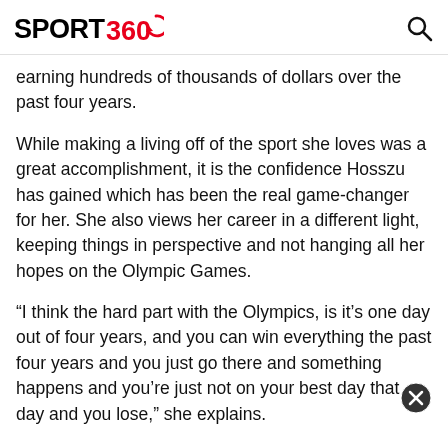SPORT 360
earning hundreds of thousands of dollars over the past four years.
While making a living off of the sport she loves was a great accomplishment, it is the confidence Hosszu has gained which has been the real game-changer for her. She also views her career in a different light, keeping things in perspective and not hanging all her hopes on the Olympic Games.
“I think the hard part with the Olympics, is it’s one day out of four years, and you can win everything the past four years and you just go there and something happens and you’re just not on your best day that day and you lose,” she explains.